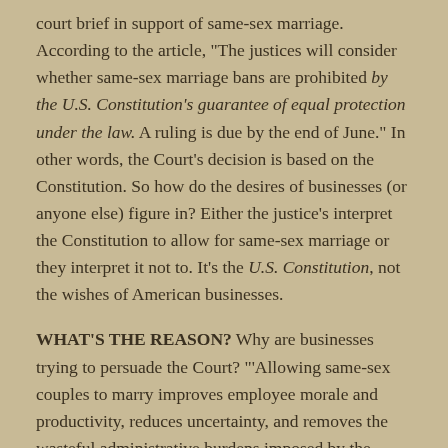court brief in support of same-sex marriage. According to the article, "The justices will consider whether same-sex marriage bans are prohibited by the U.S. Constitution's guarantee of equal protection under the law. A ruling is due by the end of June." In other words, the Court's decision is based on the Constitution. So how do the desires of businesses (or anyone else) figure in? Either the justice's interpret the Constitution to allow for same-sex marriage or they interpret it not to. It's the U.S. Constitution, not the wishes of American businesses.
WHAT'S THE REASON? Why are businesses trying to persuade the Court? "'Allowing same-sex couples to marry improves employee morale and productivity, reduces uncertainty, and removes the wasteful administrative burdens imposed by the current disparity of state law treatment,' the brief says." I don't